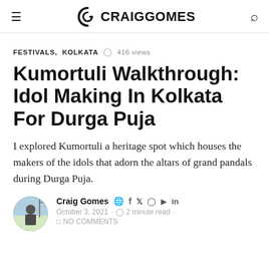CRAIG GOMES
FESTIVALS, KOLKATA  ⊙ 416 views
Kumortuli Walkthrough: Idol Making In Kolkata For Durga Puja
I explored Kumortuli a heritage spot which houses the makers of the idols that adorn the altars of grand pandals during Durga Puja.
Craig Gomes  October 3, 2021 · ⊙ 2 minute read · NO COMMENTS